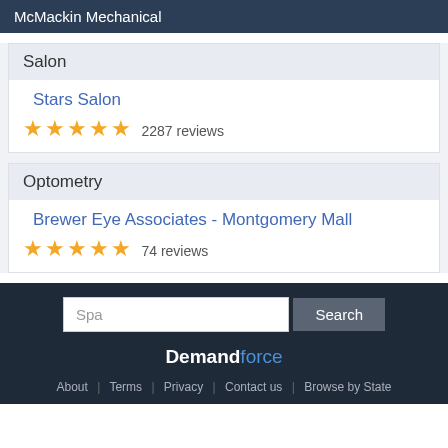McMackin Mechanical
Salon
Stars Salon
★★★★★ 2287 reviews
Optometry
Brewer Eye Associates - Montgomery Mall
★★★★★ 74 reviews
Spa [search input]
Demandforce
About | Terms | Privacy | Contact us | Browse by State